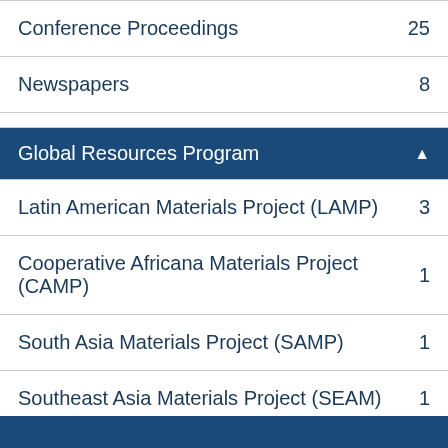| Category | Count |
| --- | --- |
| Conference Proceedings | 25 |
| Newspapers | 8 |
| Global Resources Program | ▲ |
| Latin American Materials Project (LAMP) | 3 |
| Cooperative Africana Materials Project (CAMP) | 1 |
| South Asia Materials Project (SAMP) | 1 |
| Southeast Asia Materials Project (SEAM) | 1 |
| Slavic and East European Materials Project (SEEMP) | 1 |